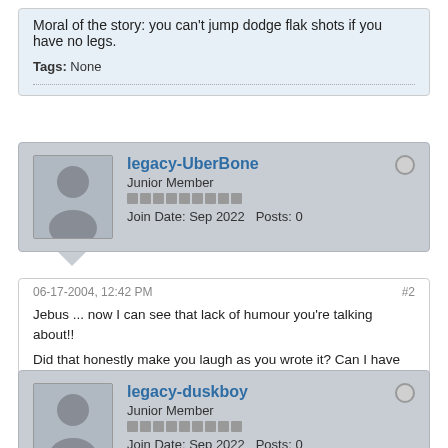Moral of the story: you can't jump dodge flak shots if you have no legs.
Tags: None
legacy-UberBone
Junior Member
Join Date: Sep 2022  Posts: 0
06-17-2004, 12:42 PM
#2
Jebus ... now I can see that lack of humour you're talking about!!

Did that honestly make you laugh as you wrote it? Can I have some? :bulb:
legacy-duskboy
Junior Member
Join Date: Sep 2022  Posts: 0